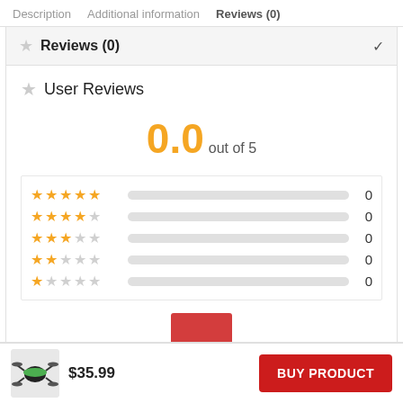Description   Additional information   Reviews (0)
Reviews (0)
User Reviews
0.0 out of 5
| Stars | Bar | Count |
| --- | --- | --- |
| ★★★★★ |  | 0 |
| ★★★★☆ |  | 0 |
| ★★★☆☆ |  | 0 |
| ★★☆☆☆ |  | 0 |
| ★☆☆☆☆ |  | 0 |
$35.99
BUY PRODUCT